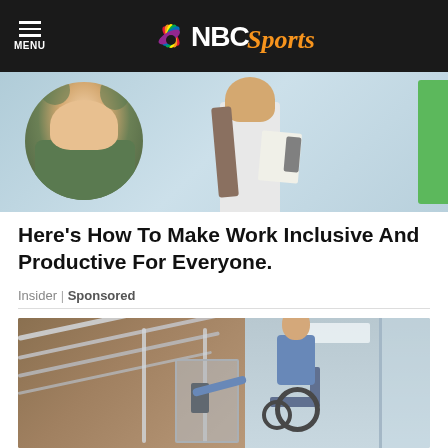MENU | NBC Sports
[Figure (photo): Advertisement image showing two people in a workplace setting on a light blue background, with a green rectangular element on the right side.]
Here's How To Make Work Inclusive And Productive For Everyone.
Insider | Sponsored
[Figure (photo): Photo of an elderly bearded man in a wheelchair using a platform lift or stair lift in a building with metal railings and glass partitions.]